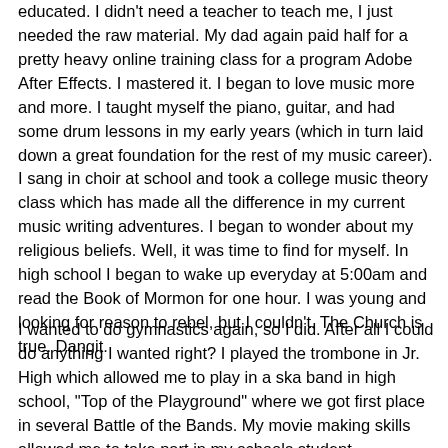educated.  I didn't need a teacher to teach me, I just needed the raw material.  My dad again paid half for a pretty heavy online training class for a program Adobe After Effects.  I mastered it.  I began to love music more and more.  I taught myself the piano, guitar, and had some drum lessons in my early years (which in turn laid down a great foundation for the rest of my music career).  I sang in choir at school and took a college music theory class which has made all the difference in my current music writing adventures.  I began to wonder about my religious beliefs.  Well, it was time to find for myself.  In high school I began to wake up everyday at 5:00am and read the Book of Mormon for one hour.  I was young and looking for reason to rebel, but I couldn't.  The Church is true.  Dangit.
I wanted to do gymnastics again, so I did.  After all I could do anything I wanted right?  I played the trombone in Jr. High which allowed me to play in a ska band in high school, "Top of the Playground" where we got first place in several Battle of the Bands.  My movie making skills allowed me to take part in my schools student government program where I became a Student Body Officer.  I was a skilled gymnast that